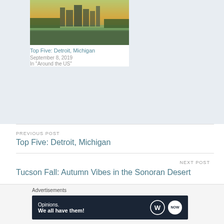[Figure (photo): Outdoor cityscape photo with green field in foreground and city buildings in background at dusk/sunset]
Top Five: Detroit, Michigan
September 8, 2019
In "Around the US"
PREVIOUS POST
Top Five: Detroit, Michigan
NEXT POST
Tucson Fall: Autumn Vibes in the Sonoran Desert
Advertisements
[Figure (infographic): WordPress advertisement banner: dark navy background with text 'Opinions. We all have them!' and WordPress logo and another circular logo on the right]